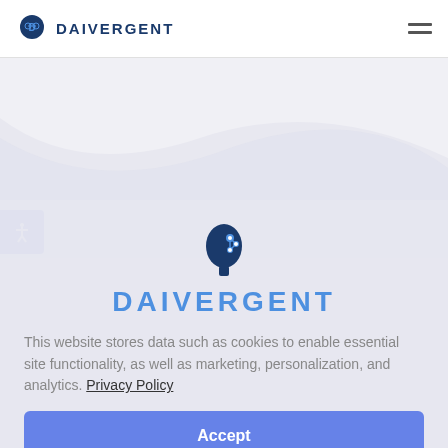DAIVERGENT
[Figure (logo): Daivergent logo: brain with circuit patterns icon and text DAIVERGENT in blue]
This website stores data such as cookies to enable essential site functionality, as well as marketing, personalization, and analytics. Privacy Policy
Accept
Deny